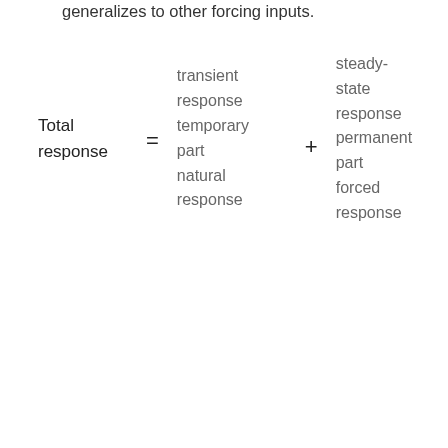generalizes to other forcing inputs.
[Figure (other): Equation diagram showing: Total response = transient response / temporary part / natural response + steady-state response / permanent part / forced response]
By the method of superposition where we split to the circuit based on the sources of energy, input energy and internal stored energy. The natural response is the familiar one where the exponential dies away to 0. The forced response is defined to be what the circuit does when the internal stored energy is set to 0. This forced